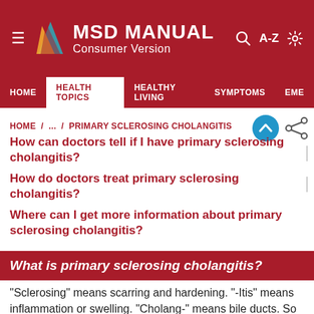MSD MANUAL Consumer Version
HOME | HEALTH TOPICS | HEALTHY LIVING | SYMPTOMS | EME
HOME / ... / PRIMARY SCLEROSING CHOLANGITIS
How can doctors tell if I have primary sclerosing cholangitis?
How do doctors treat primary sclerosing cholangitis?
Where can I get more information about primary sclerosing cholangitis?
What is primary sclerosing cholangitis?
"Sclerosing" means scarring and hardening. "-Itis" means inflammation or swelling. "Cholang-" means bile ducts. So cholangitis is inflammation of your bile ducts. Primary sclerosing cholangitis is a disease with swelling...